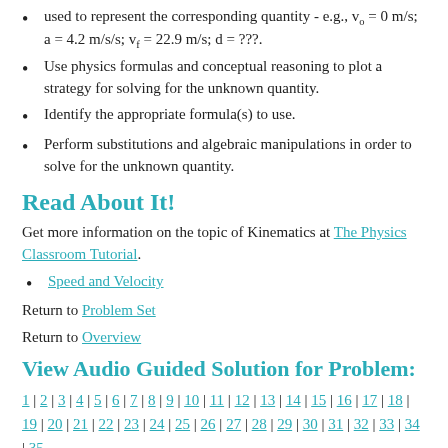used to represent the corresponding quantity - e.g., v₀ = 0 m/s; a = 4.2 m/s/s; vf = 22.9 m/s; d = ???.
Use physics formulas and conceptual reasoning to plot a strategy for solving for the unknown quantity.
Identify the appropriate formula(s) to use.
Perform substitutions and algebraic manipulations in order to solve for the unknown quantity.
Read About It!
Get more information on the topic of Kinematics at The Physics Classroom Tutorial.
Speed and Velocity
Return to Problem Set
Return to Overview
View Audio Guided Solution for Problem:
1 | 2 | 3 | 4 | 5 | 6 | 7 | 8 | 9 | 10 | 11 | 12 | 13 | 14 | 15 | 16 | 17 | 18 | 19 | 20 | 21 | 22 | 23 | 24 | 25 | 26 | 27 | 28 | 29 | 30 | 31 | 32 | 33 | 34 | 35